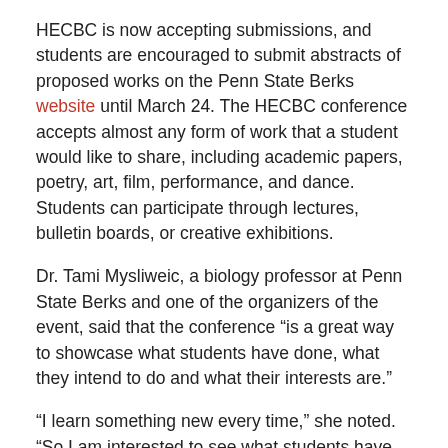HECBC is now accepting submissions, and students are encouraged to submit abstracts of proposed works on the Penn State Berks website until March 24. The HECBC conference accepts almost any form of work that a student would like to share, including academic papers, poetry, art, film, performance, and dance. Students can participate through lectures, bulletin boards, or creative exhibitions.
Dr. Tami Mysliweic, a biology professor at Penn State Berks and one of the organizers of the event, said that the conference “is a great way to showcase what students have done, what they intend to do and what their interests are.”
“I learn something new every time,” she noted. “So I am interested to see what students have learned and want to share with us.”
The event is not a dull meeting, or boring science fair, like in grade school. It is an incredible opportunity for students to stretch their professional wings by sharing their artistic or scholarly insights with a group of fellow artists or scholars.